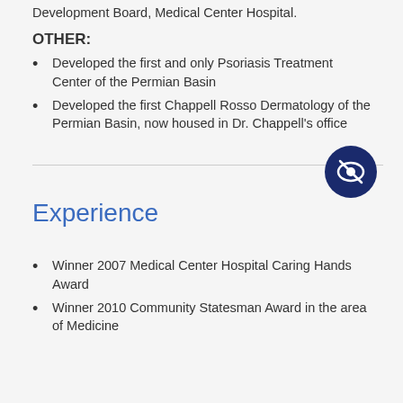Development Board, Medical Center Hospital.
OTHER:
Developed the first and only Psoriasis Treatment Center of the Permian Basin
Developed the first Chappell Rosso Dermatology of the Permian Basin, now housed in Dr. Chappell's office
Experience
Winner 2007 Medical Center Hospital Caring Hands Award
Winner 2010 Community Statesman Award in the area of Medicine